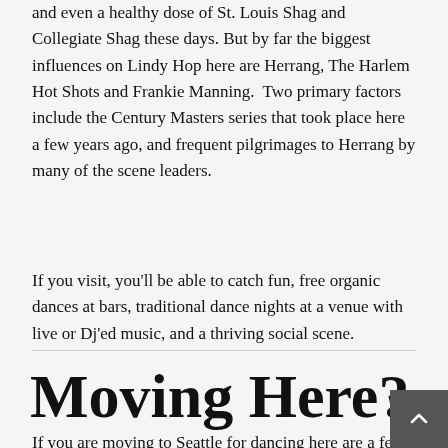and even a healthy dose of St. Louis Shag and Collegiate Shag these days. But by far the biggest influences on Lindy Hop here are Herrang, The Harlem Hot Shots and Frankie Manning.  Two primary factors include the Century Masters series that took place here a few years ago, and frequent pilgrimages to Herrang by many of the scene leaders.
If you visit, you'll be able to catch fun, free organic dances at bars, traditional dance nights at a venue with live or Dj'ed music, and a thriving social scene.
Moving Here?
If you are moving to Seattle for dancing here are a few